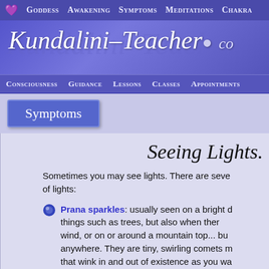Goddess  Awakening  Symptoms  Meditations  Chakra
[Figure (screenshot): Kundalini-Teacher.co website logo banner with white italic text on purple/blue gradient background]
Consciousness  Guidance  Lessons  Classes  Appointments
Symptoms
Seeing Lights.
Sometimes you may see lights. There are seve... of lights:
Prana sparkles: usually seen on a bright ... things such as trees, but also when ther... wind, or on or around a mountain top... bu... anywhere. They are tiny, swirling comets r... that wink in and out of existence as you wa...
Faerie lights: Usually smallish balls of li...